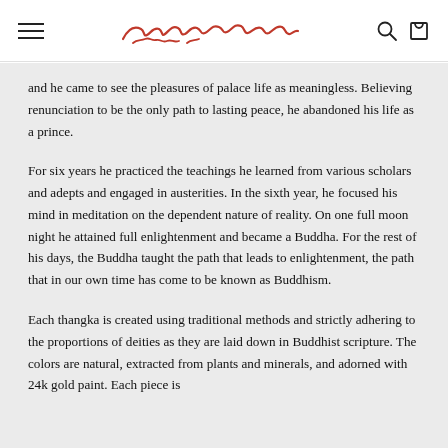[Navigation header with hamburger menu, Tibetan script logo, search and cart icons]
and he came to see the pleasures of palace life as meaningless. Believing renunciation to be the only path to lasting peace, he abandoned his life as a prince.
For six years he practiced the teachings he learned from various scholars and adepts and engaged in austerities. In the sixth year, he focused his mind in meditation on the dependent nature of reality. On one full moon night he attained full enlightenment and became a Buddha. For the rest of his days, the Buddha taught the path that leads to enlightenment, the path that in our own time has come to be known as Buddhism.
Each thangka is created using traditional methods and strictly adhering to the proportions of deities as they are laid down in Buddhist scripture. The colors are natural, extracted from plants and minerals, and adorned with 24k gold paint. Each piece is